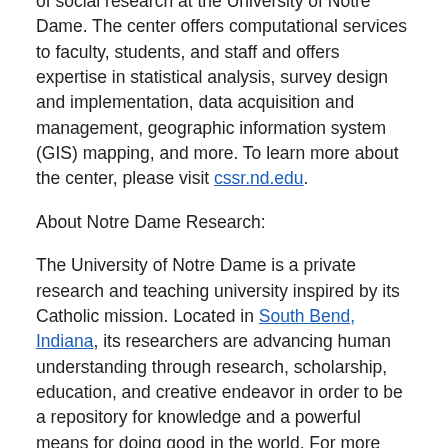the Center for Research Computing, is dedicated to improving the quality and efficiency of social research at the University of Notre Dame. The center offers computational services to faculty, students, and staff and offers expertise in statistical analysis, survey design and implementation, data acquisition and management, geographic information system (GIS) mapping, and more. To learn more about the center, please visit cssr.nd.edu.
About Notre Dame Research:
The University of Notre Dame is a private research and teaching university inspired by its Catholic mission. Located in South Bend, Indiana, its researchers are advancing human understanding through research, scholarship, education, and creative endeavor in order to be a repository for knowledge and a powerful means for doing good in the world. For more information, please see research.nd.edu or @UNDResearch.